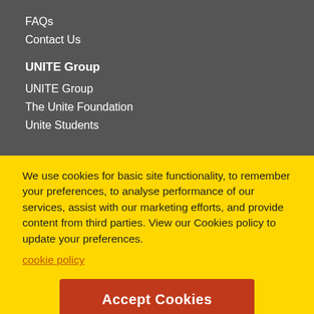FAQs
Contact Us
UNITE Group
UNITE Group
The Unite Foundation
Unite Students
We use cookies for basic site functionality, to remember your preferences, to analyse performance of our services, assist with our marketing efforts, and provide content from third parties. View our Cookies policy to update your preferences.
cookie policy
Accept Cookies